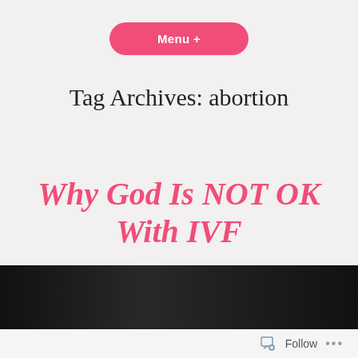Menu +
Tag Archives: abortion
Why God Is NOT OK With IVF
[Figure (photo): Dark background image, partially visible at bottom of page]
Follow ...